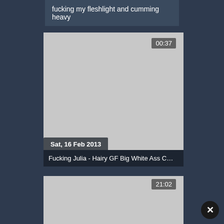fucking my fleshlight and cumming heavy
[Figure (screenshot): Video thumbnail placeholder (gray), duration badge 00:37, date badge Sat, 16 Feb 2013, title Fucking Julia - Hairy GF Big White Ass C...]
[Figure (screenshot): Video thumbnail placeholder (gray), duration badge 21:02]